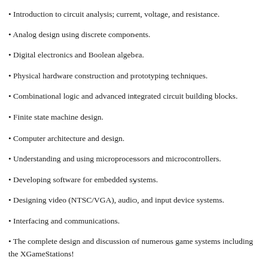Introduction to circuit analysis; current, voltage, and resistance.
Analog design using discrete components.
Digital electronics and Boolean algebra.
Physical hardware construction and prototyping techniques.
Combinational logic and advanced integrated circuit building blocks.
Finite state machine design.
Computer architecture and design.
Understanding and using microprocessors and microcontrollers.
Developing software for embedded systems.
Designing video (NTSC/VGA), audio, and input device systems.
Interfacing and communications.
The complete design and discussion of numerous game systems including the XGameStations!
類似商品
[Figure (photo): Two product thumbnails with VIP 95折 badges. Left: dark book cover. Right: book cover with 'Electronic' title text.]